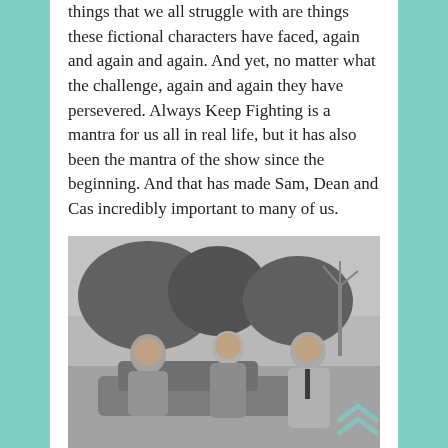things that we all struggle with are things these fictional characters have faced, again and again and again. And yet, no matter what the challenge, again and again they have persevered. Always Keep Fighting is a mantra for us all in real life, but it has also been the mantra of the show since the beginning. And that has made Sam, Dean and Cas incredibly important to many of us.
[Figure (photo): Black and white photograph of three men outdoors near a car. The man on the left sits on the car hood smiling, wearing a jacket. The man in the center stands leaning against the car smiling, wearing a jacket. The man on the right stands wearing a long trench coat and tie, smiling. Trees and a windmill are visible in the background.]